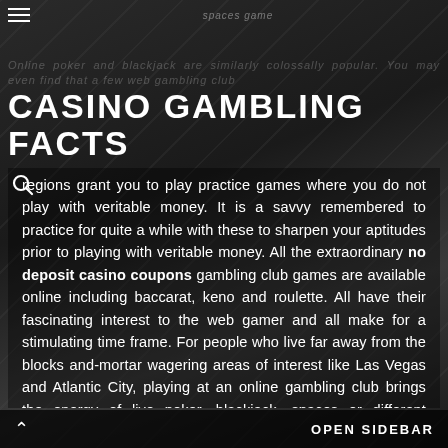spaces game
CASINO GAMBLING FACTS
regions grant you to play practice games where you do not play with veritable money. It is a savvy remembered to practice for quite a while with these to sharpen your aptitudes prior to playing with veritable money. All the extraordinary no deposit casino coupons gambling club games are available online including baccarat, keno and roulette. All have their fascinating interest to the web gamer and all make for a stimulating time frame. For people who live far away from the blocks and-mortar wagering areas of interest like Las Vegas and Atlantic City, playing at an online gambling club brings the energy of live poker, blackjack, spaces or different various games straightforwardly into their homes.
OPEN SIDEBAR